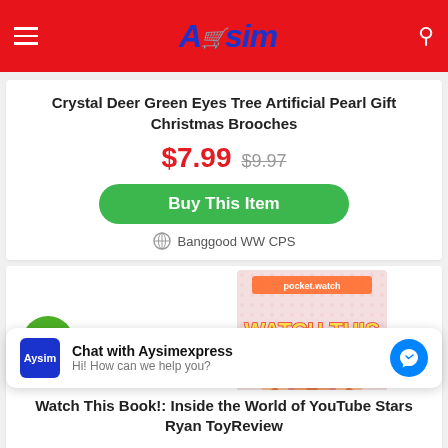Aysim
Crystal Deer Green Eyes Tree Artificial Pearl Gift Christmas Brooches
$7.99  $9.97
Buy This Item
Banggood WW CPS
[Figure (photo): Book cover: Watch This Book! Inside the World of YouTube Stars Ryan ToyReview, with -36% discount badge]
Chat with Aysimexpress
Hi! How can we help you?
Watch This Book!: Inside the World of YouTube Stars Ryan ToyReview